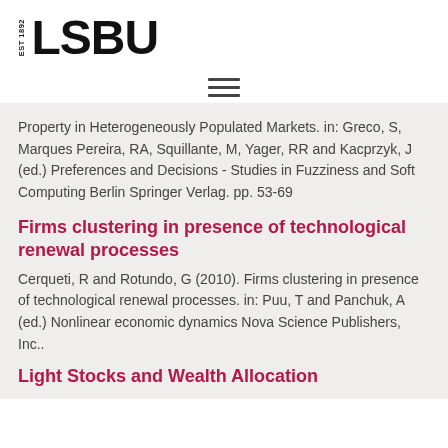[Figure (logo): LSBU logo with EST 1892 text and bold LSBU wordmark]
[Figure (other): Hamburger menu icon with three horizontal lines]
Property in Heterogeneously Populated Markets. in: Greco, S, Marques Pereira, RA, Squillante, M, Yager, RR and Kacprzyk, J (ed.) Preferences and Decisions - Studies in Fuzziness and Soft Computing Berlin Springer Verlag. pp. 53-69
Firms clustering in presence of technological renewal processes
Cerqueti, R and Rotundo, G (2010). Firms clustering in presence of technological renewal processes. in: Puu, T and Panchuk, A (ed.) Nonlinear economic dynamics Nova Science Publishers, Inc..
Light Stocks and Wealth Allocation